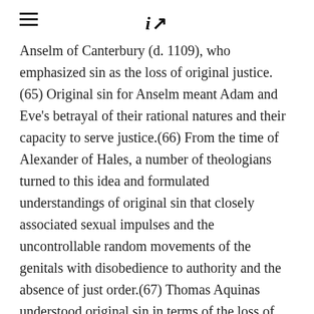iA (logo with hamburger menu)
Anselm of Canterbury (d. 1109), who emphasized sin as the loss of original justice.(65) Original sin for Anselm meant Adam and Eve's betrayal of their rational natures and their capacity to serve justice.(66) From the time of Alexander of Hales, a number of theologians turned to this idea and formulated understandings of original sin that closely associated sexual impulses and the uncontrollable random movements of the genitals with disobedience to authority and the absence of just order.(67) Thomas Aquinas understood original sin in terms of the loss of original justice, the harmony of the human will with God's plan. Original sin is thus an individual's